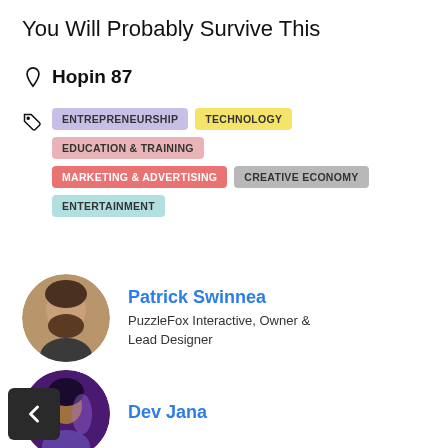You Will Probably Survive This
Hopin 87
ENTREPRENEURSHIP  TECHNOLOGY  EDUCATION & TRAINING  MARKETING & ADVERTISING  CREATIVE ECONOMY  ENTERTAINMENT
Patrick Swinnea
PuzzleFox Interactive, Owner & Lead Designer
Dev Jana